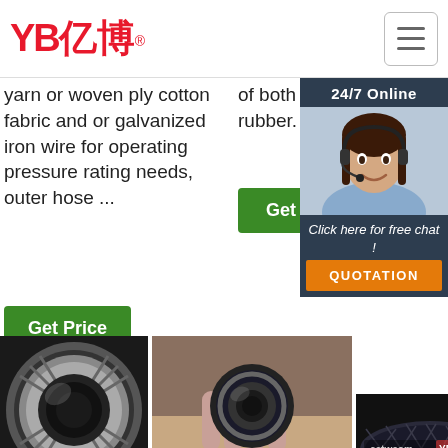[Figure (logo): YB亿博 company logo in red with registered trademark symbol, hamburger menu button on right]
yarn or woven ply cotton fabric and or galvanized iron wire for operating pressure rating needs, outer hose ...
of both plastic and rubber.
[Figure (photo): 24/7 Online chat widget with photo of woman wearing headset, click here for free chat, QUOTATION button]
[Figure (photo): Close-up photo of a hydraulic hose end fitting, metallic with braided reinforcement]
[Figure (photo): Hand holding a black hydraulic hose cross-section showing inner bore]
[Figure (photo): cctwcom YB TOP branded hydraulic hose product image]